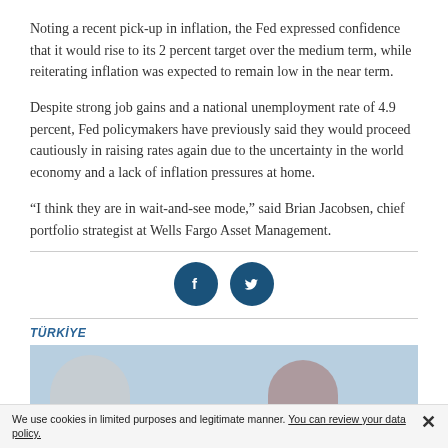Noting a recent pick-up in inflation, the Fed expressed confidence that it would rise to its 2 percent target over the medium term, while reiterating inflation was expected to remain low in the near term.
Despite strong job gains and a national unemployment rate of 4.9 percent, Fed policymakers have previously said they would proceed cautiously in raising rates again due to the uncertainty in the world economy and a lack of inflation pressures at home.
“I think they are in wait-and-see mode,” said Brian Jacobsen, chief portfolio strategist at Wells Fargo Asset Management.
[Figure (other): Two social media share buttons: Facebook (f) and Twitter (bird icon), both dark blue circular icons.]
TÜRKİYE
[Figure (photo): Cropped photo showing two people's heads against a light blue background.]
We use cookies in limited purposes and legitimate manner. You can review your data policy.